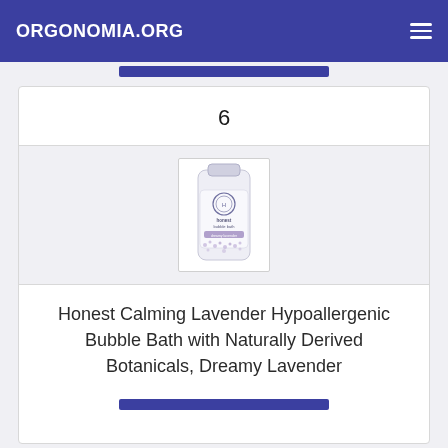ORGONOMIA.ORG
6
[Figure (photo): Honest Calming Lavender Hypoallergenic Bubble Bath bottle with lavender-decorated label]
Honest Calming Lavender Hypoallergenic Bubble Bath with Naturally Derived Botanicals, Dreamy Lavender